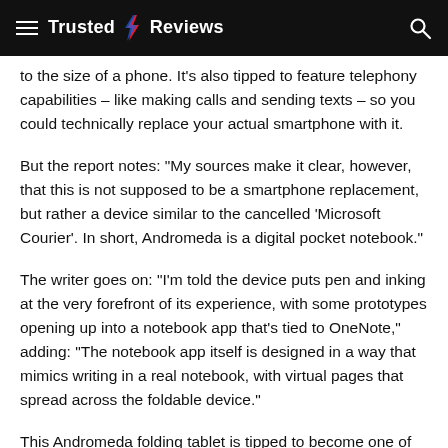Trusted Reviews
to the size of a phone. It’s also tipped to feature telephony capabilities – like making calls and sending texts – so you could technically replace your actual smartphone with it.
But the report notes: “My sources make it clear, however, that this is not supposed to be a smartphone replacement, but rather a device similar to the cancelled ‘Microsoft Courier’. In short, Andromeda is a digital pocket notebook.”
The writer goes on: “I’m told the device puts pen and inking at the very forefront of its experience, with some prototypes opening up into a notebook app that’s tied to OneNote,” adding: “The notebook app itself is designed in a way that mimics writing in a real notebook, with virtual pages that spread across the foldable device.”
This Andromeda folding tablet is tipped to become one of the new wave of upcoming devices running on